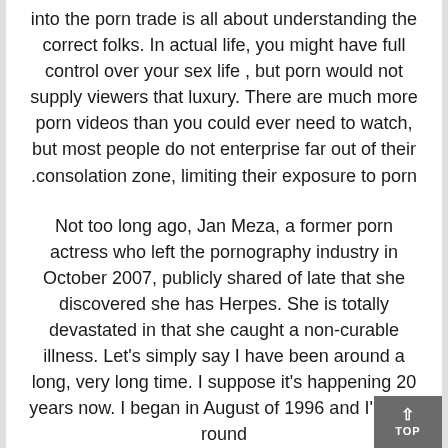into the porn trade is all about understanding the correct folks. In actual life, you might have full control over your sex life , but porn would not supply viewers that luxury. There are much more porn videos than you could ever need to watch, but most people do not enterprise far out of their consolation zone, limiting their exposure to porn.
Not too long ago, Jan Meza, a former porn actress who left the pornography industry in October 2007, publicly shared of late that she discovered she has Herpes. She is totally devastated in that she caught a non-curable illness. Let's simply say I have been around a long, very long time. I suppose it's happening 20 years now. I began in August of 1996 and I'm still round